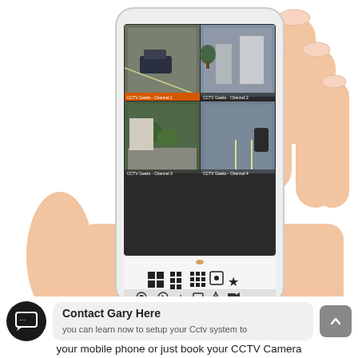[Figure (photo): A hand holding a white smartphone displaying a CCTV security camera app with four camera feeds showing outdoor areas. The phone interface shows camera channel grid view with navigation icons at the bottom.]
Contact Gary Here
you can learn now to setup your Cctv system to your mobile phone or just book your CCTV Camera